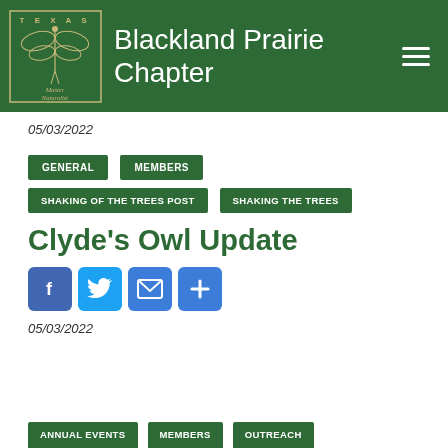Texas Master Naturalist – Blackland Prairie Chapter
05/03/2022
GENERAL
MEMBERS
SHAKING OF THE TREES POST
SHAKING THE TREES
Clyde's Owl Update
05/03/2022
ANNUAL EVENTS
MEMBERS
OUTREACH